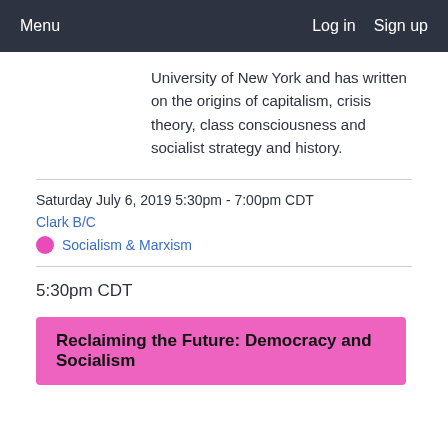Menu  Log in  Sign up
University of New York and has written on the origins of capitalism, crisis theory, class consciousness and socialist strategy and history.
Saturday July 6, 2019 5:30pm - 7:00pm CDT
Clark B/C
Socialism & Marxism
5:30pm CDT
Reclaiming the Future: Democracy and Socialism